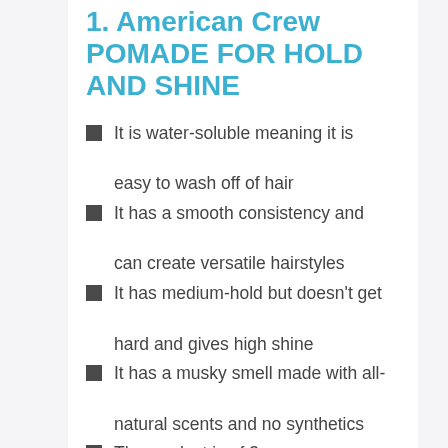1. American Crew POMADE FOR HOLD AND SHINE
It is water-soluble meaning it is easy to wash off of hair
It has a smooth consistency and can create versatile hairstyles
It has medium-hold but doesn't get hard and gives high shine
It has a musky smell made with all-natural scents and no synthetics
The product is of 3 ounce